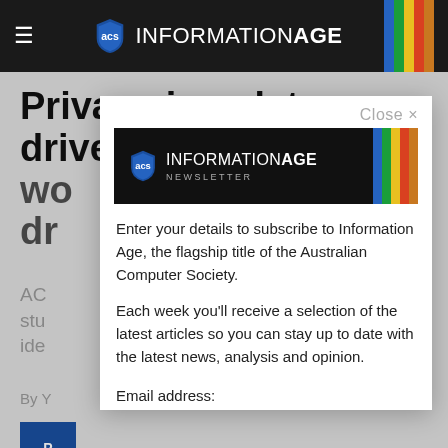INFORMATION AGE
Privacy in a data-driven world
ACS ... study ... ideas ...
By Y...
[Figure (logo): Information Age Newsletter banner with ACS shield logo and colored vertical bars]
Enter your details to subscribe to Information Age, the flagship title of the Australian Computer Society.
Each week you'll receive a selection of the latest articles so you can stay up to date with the latest news, analysis and opinion.
Email address: